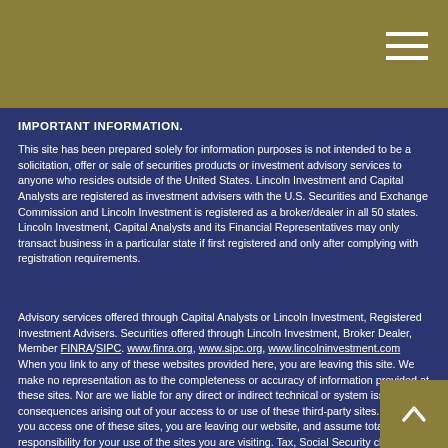IMPORTANT INFORMATION.
This site has been prepared solely for information purposes is not intended to be a solicitation, offer or sale of securities products or investment advisory services to anyone who resides outside of the United States. Lincoln Investment and Capital Analysts are registered as investment advisers with the U.S. Securities and Exchange Commission and Lincoln Investment is registered as a broker/dealer in all 50 states. Lincoln Investment, Capital Analysts and its Financial Representatives may only transact business in a particular state if first registered and only after complying with registration requirements.
Advisory services offered through Capital Analysts or Lincoln Investment, Registered Investment Advisers. Securities offered through Lincoln Investment, Broker Dealer, Member FINRA/SIPC. www.finra.org, www.sipc.org, www.lincolninvestment.com When you link to any of these websites provided here, you are leaving this site. We make no representation as to the completeness or accuracy of information provided at these sites. Nor are we liable for any direct or indirect technical or system issues or consequences arising out of your access to or use of these third-party sites. When you access one of these sites, you are leaving our website, and assume total responsibility for your use of the sites you are visiting. Tax, Social Security claiming or legal services are not offered through, or supervised by Lincoln Investment or Capital Analysts.